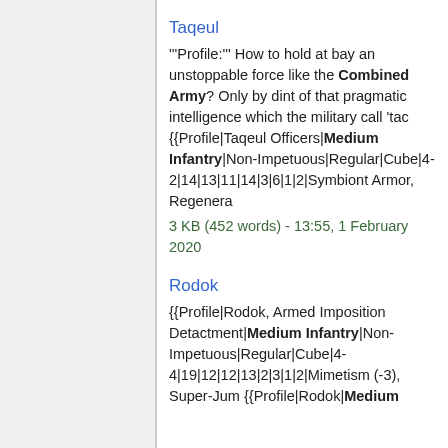Taqeul
'''Profile:''' How to hold at bay an unstoppable force like the Combined Army? Only by dint of that pragmatic intelligence which the military call 'tac {{Profile|Taqeul Officers|Medium Infantry|Non-Impetuous|Regular|Cube|4-2|14|13|11|14|3|6|1|2|Symbiont Armor, Regenera
3 KB (452 words) - 13:55, 1 February 2020
Rodok
{{Profile|Rodok, Armed Imposition Detactment|Medium Infantry|Non-Impetuous|Regular|Cube|4-4|19|12|12|13|2|3|1|2|Mimetism (-3), Super-Jum {{Profile|Rodok|Medium